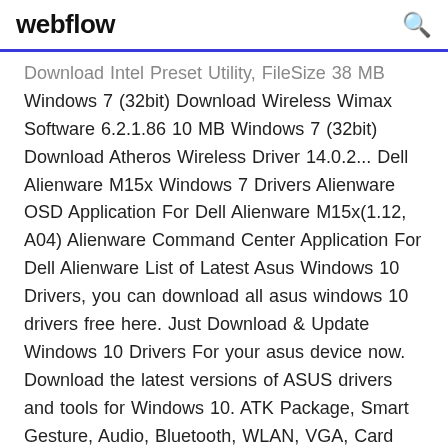webflow
Download Intel Preset Utility, FileSize 38 MB Windows 7 (32bit) Download Wireless Wimax Software 6.2.1.86 10 MB Windows 7 (32bit) Download Atheros Wireless Driver 14.0.2... Dell Alienware M15x Windows 7 Drivers Alienware OSD Application For Dell Alienware M15x(1.12, A04) Alienware Command Center Application For Dell Alienware List of Latest Asus Windows 10 Drivers, you can download all asus windows 10 drivers free here. Just Download & Update Windows 10 Drivers For your asus device now. Download the latest versions of ASUS drivers and tools for Windows 10. ATK Package, Smart Gesture, Audio, Bluetooth, WLAN, VGA, Card Reader, BIOS, and more.